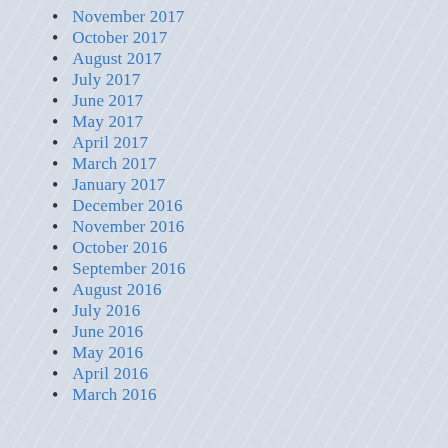November 2017
October 2017
August 2017
July 2017
June 2017
May 2017
April 2017
March 2017
January 2017
December 2016
November 2016
October 2016
September 2016
August 2016
July 2016
June 2016
May 2016
April 2016
March 2016